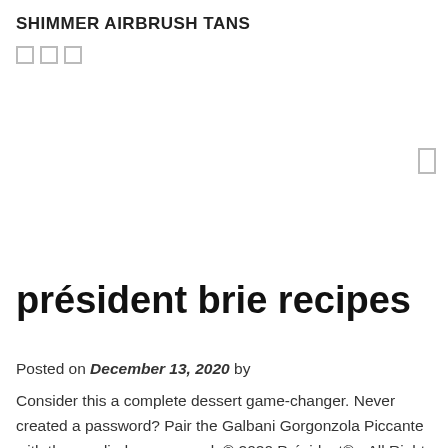SHIMMER AIRBRUSH TANS
président brie recipes
Posted on December 13, 2020 by
Consider this a complete dessert game-changer. Never created a password? Pair the Galbani Gorgonzola Piccante with the candied orange peel. © 2020 Président® • All Rights Reserved Plus, there are tons of brie recipes out there that you just have to try. Président Brie – Président Brie is soft and creamy, and when baked to melty deliciousness, it tastes absolutely decadent. Bake, uncovered, at 400° until cheese is softened, 10-12